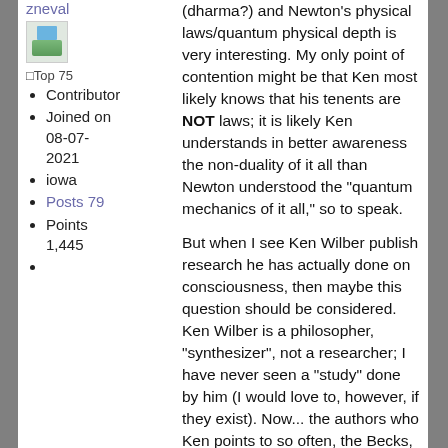zneval
[Figure (photo): Small avatar image with blue sky and green landscape thumbnail]
Top 75
Contributor
Joined on 08-07-2021
iowa
Posts 79
Points 1,445
(dharma?) and Newton's physical laws/quantum physical depth is very interesting. My only point of contention might be that Ken most likely knows that his tenents are NOT laws; it is likely Ken understands in better awareness the non-duality of it all than Newton understood the "quantum mechanics of it all," so to speak.
But when I see Ken Wilber publish research he has actually done on consciousness, then maybe this question should be considered. Ken Wilber is a philosopher, "synthesizer", not a researcher; I have never seen a "study" done by him (I would love to, however, if they exist). Now... the authors who Ken points to so often, the Becks, Loevingers, etc... maybe one of them... Again, the reissue of Transformation of Consciousness should show us Ken's legitimacy in this area. Before then, it seems more accurate to say that he has blazed a trail through his/His own consciousness and has been eloquent to have brought us along